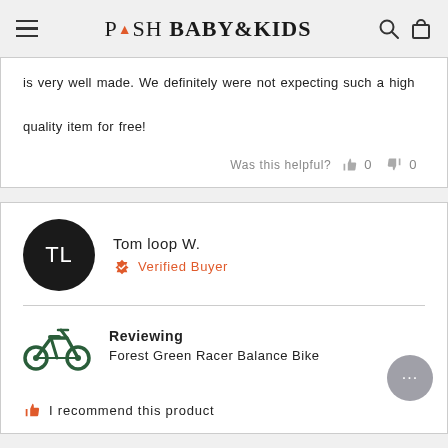Posh Baby & Kids — navigation header
is very well made. We definitely were not expecting such a high quality item for free!
Was this helpful? 0 0
Tom loop W. — Verified Buyer
Reviewing Forest Green Racer Balance Bike
I recommend this product